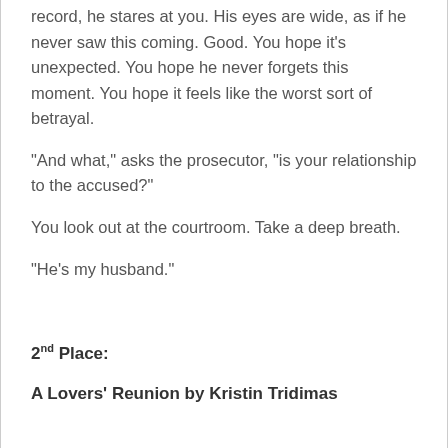record, he stares at you. His eyes are wide, as if he never saw this coming. Good. You hope it's unexpected. You hope he never forgets this moment. You hope it feels like the worst sort of betrayal.
“And what,” asks the prosecutor, “is your relationship to the accused?”
You look out at the courtroom. Take a deep breath.
“He’s my husband.”
2nd Place:
A Lovers’ Reunion by Kristin Tridimas